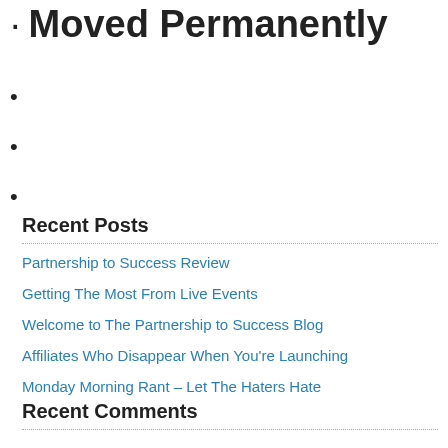• Moved Permanently
•
•
•
Recent Posts
Partnership to Success Review
Getting The Most From Live Events
Welcome to The Partnership to Success Blog
Affiliates Who Disappear When You're Launching
Monday Morning Rant – Let The Haters Hate
Recent Comments